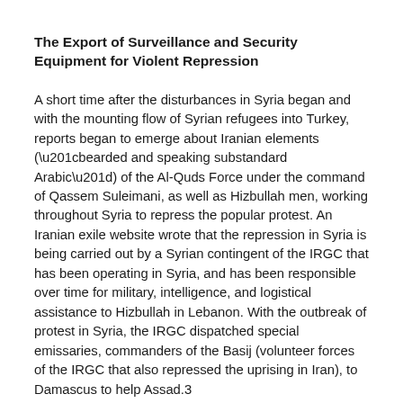The Export of Surveillance and Security Equipment for Violent Repression
A short time after the disturbances in Syria began and with the mounting flow of Syrian refugees into Turkey, reports began to emerge about Iranian elements (“bearded and speaking substandard Arabic”) of the Al-Quds Force under the command of Qassem Suleimani, as well as Hizbullah men, working throughout Syria to repress the popular protest. An Iranian exile website wrote that the repression in Syria is being carried out by a Syrian contingent of the IRGC that has been operating in Syria, and has been responsible over time for military, intelligence, and logistical assistance to Hizbullah in Lebanon. With the outbreak of protest in Syria, the IRGC dispatched special emissaries, commanders of the Basij (volunteer forces of the IRGC that also repressed the uprising in Iran), to Damascus to help Assad.3
The Syrian security organizations, despite their ongoing, clandestine activities against opposition groups over the years, have avoided any hands-on attempts at repression of the wide-scale protests, which erupted simultaneously at several locales.